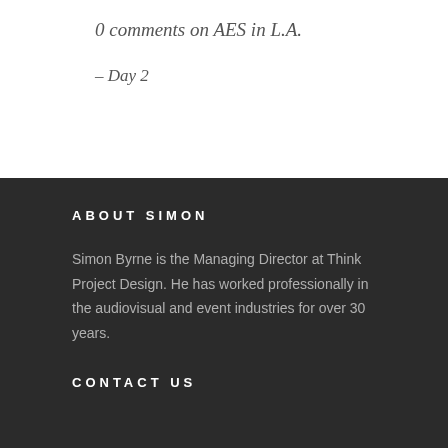0 comments on AES in L.A.
– Day 2
ABOUT SIMON
Simon Byrne is the Managing Director at Think Project Design. He has worked professionally in the audiovisual and event industries for over 30 years.
CONTACT US